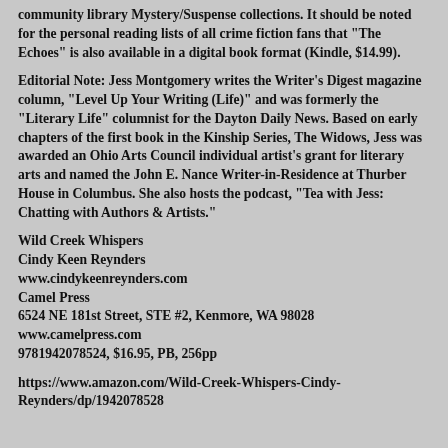community library Mystery/Suspense collections. It should be noted for the personal reading lists of all crime fiction fans that "The Echoes" is also available in a digital book format (Kindle, $14.99).
Editorial Note: Jess Montgomery writes the Writer's Digest magazine column, "Level Up Your Writing (Life)" and was formerly the "Literary Life" columnist for the Dayton Daily News. Based on early chapters of the first book in the Kinship Series, The Widows, Jess was awarded an Ohio Arts Council individual artist's grant for literary arts and named the John E. Nance Writer-in-Residence at Thurber House in Columbus. She also hosts the podcast, "Tea with Jess: Chatting with Authors & Artists."
Wild Creek Whispers
Cindy Keen Reynders
www.cindykeenreynders.com
Camel Press
6524 NE 181st Street, STE #2, Kenmore, WA 98028
www.camelpress.com
9781942078524, $16.95, PB, 256pp
https://www.amazon.com/Wild-Creek-Whispers-Cindy-Reynders/dp/1942078528